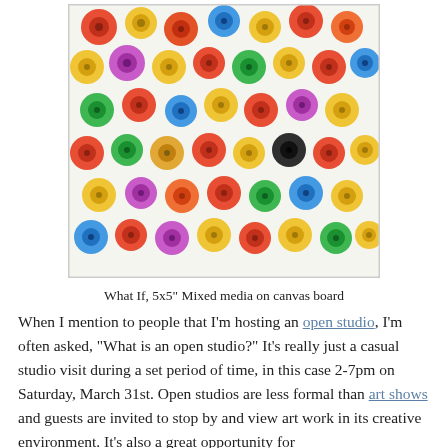[Figure (photo): Colorful rolled paper quilling art pieces arranged on a white surface, showing spirals and coils of red, yellow, orange, green, blue, purple, black, and pink paper.]
What If, 5x5" Mixed media on canvas board
When I mention to people that I'm hosting an open studio, I'm often asked, "What is an open studio?" It's really just a casual studio visit during a set period of time, in this case 2-7pm on Saturday, March 31st. Open studios are less formal than art shows and guests are invited to stop by and view art work in its creative environment. It's also a great opportunity for